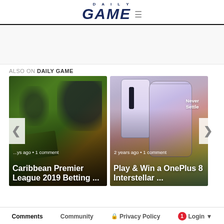DAILY GAME
[Figure (photo): Advertisement area (blank/white space)]
ALSO ON DAILY GAME
[Figure (photo): Card showing football players and money with title 'Caribbean Premier League 2019 Betting ...' and meta '...ys ago • 1 comment']
[Figure (photo): Card showing OnePlus 8 Interstellar phone with title 'Play & Win a OnePlus 8 Interstellar ...' and meta '2 years ago • 1 comment']
Comments   Community   Privacy Policy   1   Login